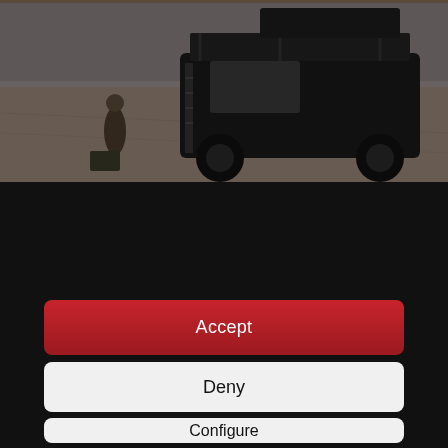[Figure (photo): Cinematic still of a person walking near a dark Land Rover Defender SUV with roof rack on a sandy/desert surface, shot from overhead angle.]
By continuing to use our site, you agree to our Terms of Use and Privacy Policy.  You can learn more about how we use cookies by reviewing our Privacy Policy.
Accept
Deny
Configure